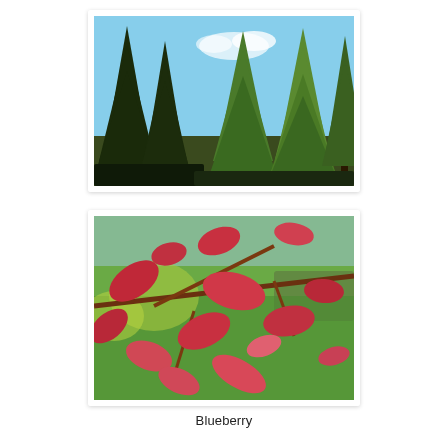[Figure (photo): Outdoor photo of tall evergreen conifer trees (spruce/fir) against a bright blue sky with light clouds. Dark silhouettes of trees on left, lighter green trees on right.]
[Figure (photo): Close-up photo of blueberry plant branches with red/pink autumn leaves, blurred green background suggesting a field or garden.]
Blueberry